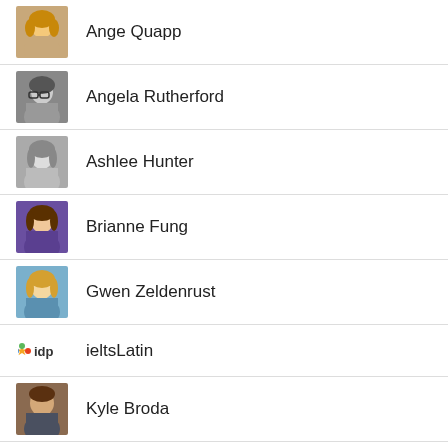Ange Quapp
Angela Rutherford
Ashlee Hunter
Brianne Fung
Gwen Zeldenrust
ieltsLatin
Kyle Broda
Lauren McKenzie